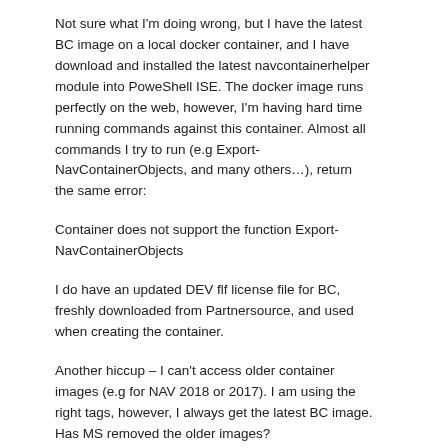Not sure what I'm doing wrong, but I have the latest BC image on a local docker container, and I have download and installed the latest navcontainerhelper module into PoweShell ISE. The docker image runs perfectly on the web, however, I'm having hard time running commands against this container. Almost all commands I try to run (e.g Export-NavContainerObjects, and many others…), return the same error:
Container does not support the function Export-NavContainerObjects
I do have an updated DEV flf license file for BC, freshly downloaded from Partnersource, and used when creating the container.
Another hiccup – I can't access older container images (e.g for NAV 2018 or 2017). I am using the right tags, however, I always get the latest BC image. Has MS removed the older images?